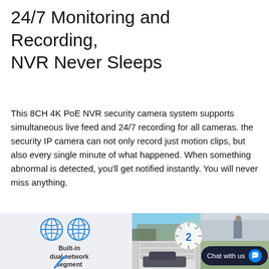24/7 Monitoring and Recording, NVR Never Sleeps
This 8CH 4K PoE NVR security camera system supports simultaneous live feed and 24/7 recording for all cameras. the security IP camera can not only record just motion clips, but also every single minute of what happened. When something abnormal is detected, you'll get notified instantly. You will never miss anything.
[Figure (infographic): Infographic section showing dual network segment icon with two globe icons on the left, and a security camera multi-view grid on the right showing outdoor building shots, person at door, and car in garage. A chat bubble overlay reads 'Chat with us' with a Messenger icon. A partial icon is visible at bottom left.]